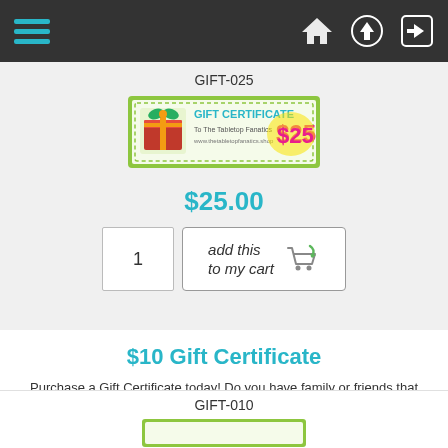Navigation bar with hamburger menu, home, upload, and login icons
GIFT-025
[Figure (illustration): Gift Certificate for $25 with green border and gift box image]
$25.00
[Figure (illustration): Quantity input box showing 1 and Add to My Cart button with shopping cart icon]
$10 Gift Certificate
Purchase a Gift Certificate today! Do you have family or friends that love roleplaying games and/or miniatures? Have a birthday or holiday coming up and you don't know what to get for them? Purchase a Gift Certificate and let them choose...
GIFT-010
[Figure (illustration): Partial view of a $10 Gift Certificate image with green border]